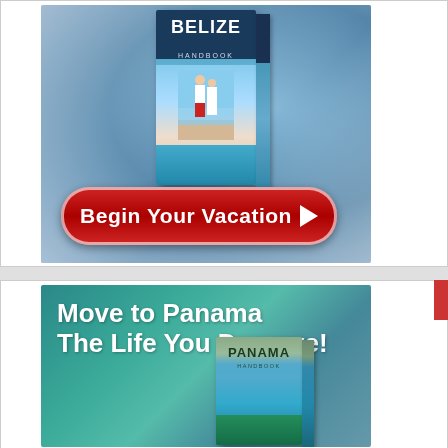[Figure (illustration): Belize Handbook advertisement banner with a book cover showing a couple on a beach, tropical ocean background, and a red 'Begin Your Vacation ▶' button.]
[Figure (illustration): Panama Handbook advertisement banner with text 'Move to Panama The Life You Deserve!' and a Panama Handbook book cover, teal/turquoise tropical background.]